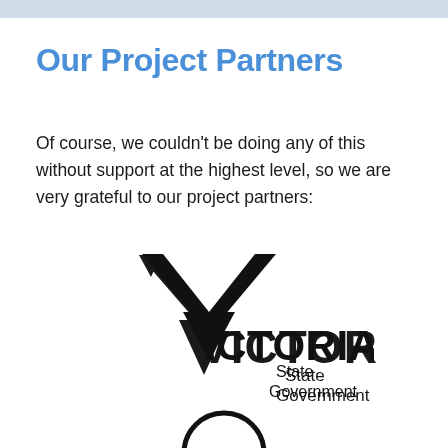Our Project Partners
Of course, we couldn't be doing any of this without support at the highest level, so we are very grateful to our project partners:
[Figure (logo): Victoria State Government logo — large black downward-pointing triangle/chevron shape with the word VICTORIA in bold black letters and 'State Government' text to the right]
[Figure (logo): Partial circular logo visible at bottom of page]